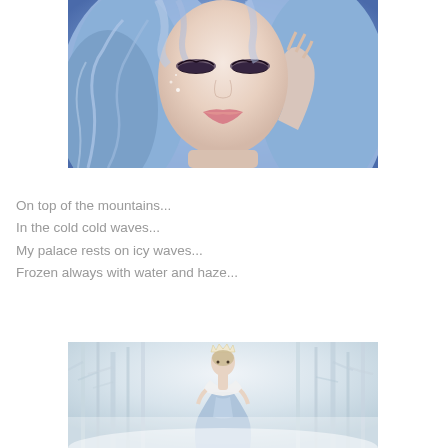[Figure (photo): Close-up portrait of a young woman with silver-blue wavy hair, heavy eye makeup with closed eyes, pink lips, and a hand raised near her face. Background is soft blue and purple with sparkling lights, giving a fantasy/winter queen aesthetic.]
On top of the mountains...
In the cold cold waves...
My palace rests on icy waves...
Frozen always with water and haze...
[Figure (photo): A woman in a light blue ballgown and white fur stole, wearing a small crown, standing in a misty white forest with bare icy-white trees. Fantasy winter queen scene.]